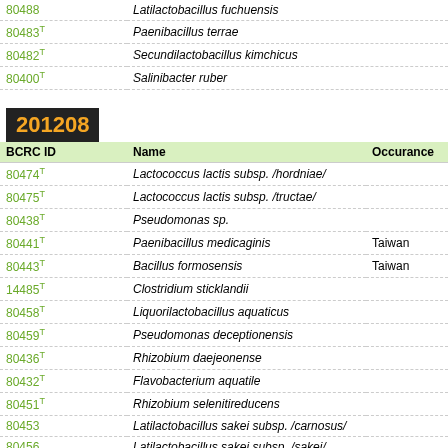| BCRC ID | Name |
| --- | --- |
| 80488 | Latilactobacillus fuchuensis |
| 80483T | Paenibacillus terrae |
| 80482T | Secundilactobacillus kimchicus |
| 80400T | Salinibacter ruber |
201208
| BCRC ID | Name | Occurance |
| --- | --- | --- |
| 80474T | Lactococcus lactis subsp. /hordniae/ |  |
| 80475T | Lactococcus lactis subsp. /tructae/ |  |
| 80438T | Pseudomonas sp. |  |
| 80441T | Paenibacillus medicaginis | Taiwan |
| 80443T | Bacillus formosensis | Taiwan |
| 14485T | Clostridium sticklandii |  |
| 80458T | Liquorilactobacillus aquaticus |  |
| 80459T | Pseudomonas deceptionensis |  |
| 80436T | Rhizobium daejeonense |  |
| 80432T | Flavobacterium aquatile |  |
| 80451T | Rhizobium selenitireducens |  |
| 80453 | Latilactobacillus sakei subsp. /carnosus/ |  |
| 80456 | Latilactobacillus sakei subsp. /sakei/ |  |